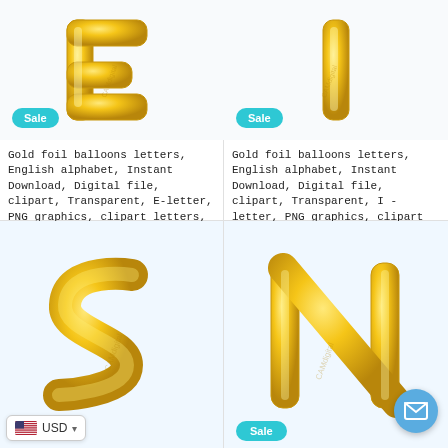[Figure (photo): Gold foil balloon letter E on white background with Sale badge]
Gold foil balloons letters, English alphabet, Instant Download, Digital file, clipart, Transparent, E-letter, PNG graphics, clipart letters,
$4.95 USD  $2.99 USD
[Figure (photo): Gold foil balloon letter I on white background with Sale badge]
Gold foil balloons letters, English alphabet, Instant Download, Digital file, clipart, Transparent, I -letter, PNG graphics, clipart letters,
$4.95 USD  $2.99 USD
[Figure (photo): Gold foil balloon letter S on white background with Sale badge and USD currency selector]
[Figure (photo): Gold foil balloon letter N on white background with Sale badge and mail button]